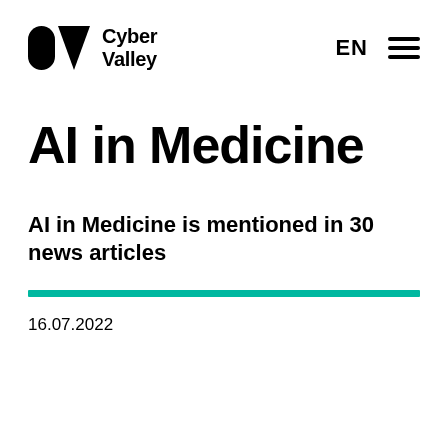Cyber Valley — EN ☰
AI in Medicine
AI in Medicine is mentioned in 30 news articles
16.07.2022